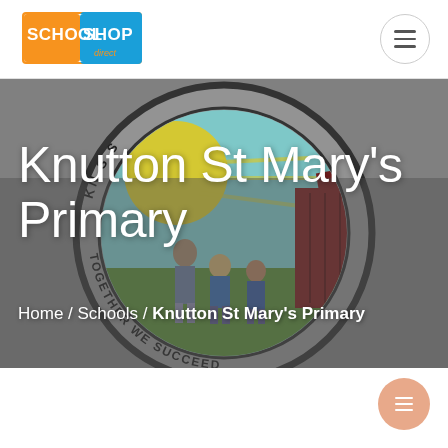[Figure (logo): School Shop Direct logo — orange rectangle with 'SCHOOL' in white and blue rectangle with 'SHOP' in white, with 'direct' below in orange on white background]
[Figure (photo): Knutton St Mary's Primary School badge/crest as a circular school badge showing students and sun illustration, with text around the circle reading 'KNUTTON ST MARY'S' at top and 'TOGETHER WE SUCCEED' at bottom. Background is greyed out school badge image.]
Knutton St Mary's Primary
Home / Schools  /  Knutton St Mary's Primary